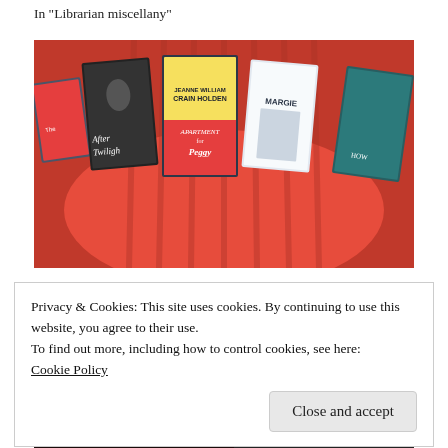In "Librarian miscellany"
[Figure (photo): Several DVD cases displayed leaning against a red chair or surface. Visible titles include 'After Twilight', 'Apartment for Peggy' (starring Jeanne Crain and William Holden), 'Margie', and others partially visible on the left and right edges.]
Reader poll, Spring 2017: Choose your next adventure
Privacy & Cookies: This site uses cookies. By continuing to use this website, you agree to their use.
To find out more, including how to control cookies, see here:
Cookie Policy
Close and accept
[Figure (photo): Partial image strip at the bottom showing pink/magenta stylized text 'TIFFANY' on a dark background, and a dark photographic image on the right side.]